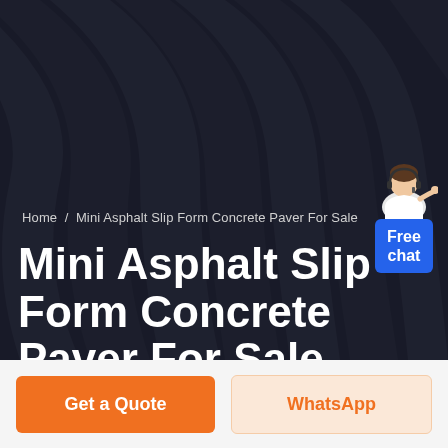[Figure (photo): Dark hero banner background showing a striped pattern (person wearing striped clothing), with a dark semi-transparent overlay. A customer service agent illustration appears in the top-right corner next to a blue 'Free chat' button.]
Home / Mini Asphalt Slip Form Concrete Paver For Sale
Mini Asphalt Slip Form Concrete Paver For Sale
Get a Quote
WhatsApp